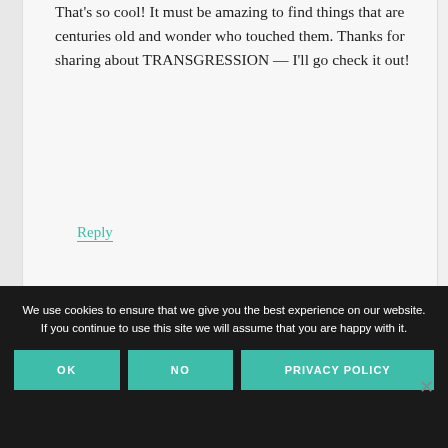That's so cool! It must be amazing to find things that are centuries old and wonder who touched them. Thanks for sharing about TRANSGRESSION — I'll go check it out!
Reply
We use cookies to ensure that we give you the best experience on our website. If you continue to use this site we will assume that you are happy with it.